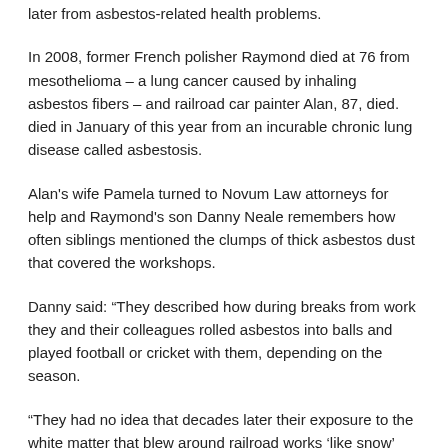later from asbestos-related health problems.
In 2008, former French polisher Raymond died at 76 from mesothelioma – a lung cancer caused by inhaling asbestos fibers – and railroad car painter Alan, 87, died. died in January of this year from an incurable chronic lung disease called asbestosis.
Alan's wife Pamela turned to Novum Law attorneys for help and Raymond's son Danny Neale remembers how often siblings mentioned the clumps of thick asbestos dust that covered the workshops.
Danny said: “They described how during breaks from work they and their colleagues rolled asbestos into balls and played football or cricket with them, depending on the season.
“They had no idea that decades later their exposure to the white matter that blew around railroad works ‘like snow’ would eventually lead to their deaths.